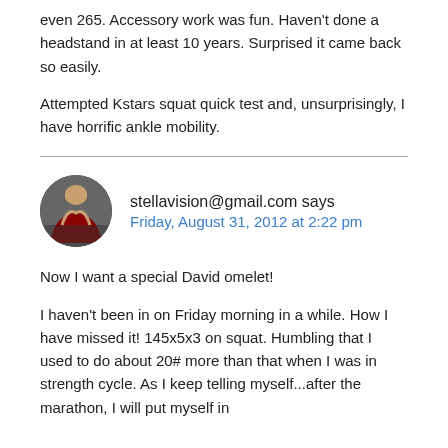even 265. Accessory work was fun. Haven't done a headstand in at least 10 years. Surprised it came back so easily.
Attempted Kstars squat quick test and, unsurprisingly, I have horrific ankle mobility.
stellavision@gmail.com says
Friday, August 31, 2012 at 2:22 pm
Now I want a special David omelet!
I haven't been in on Friday morning in a while. How I have missed it! 145x5x3 on squat. Humbling that I used to do about 20# more than that when I was in strength cycle. As I keep telling myself...after the marathon, I will put myself in